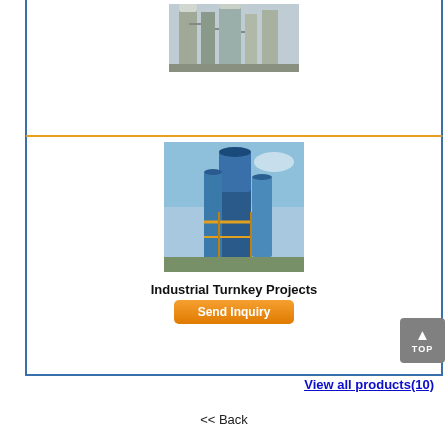[Figure (photo): Multiple Effect Evaporators industrial equipment photo — tall columns and processing vessels]
Multiple Effect Evaporators
Send Inquiry
[Figure (photo): Industrial Turnkey Projects photo — large blue industrial plant with tall cylindrical towers]
Industrial Turnkey Projects
Send Inquiry
View all products(10)
<< Back